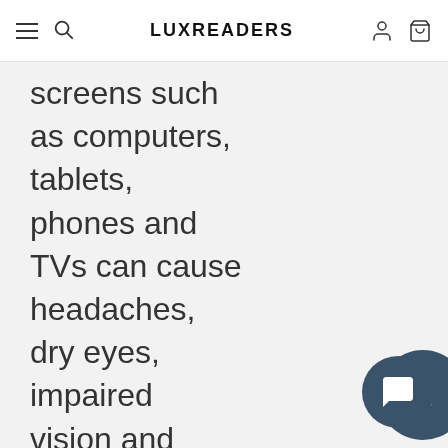LUXREADERS
screens such as computers, tablets, phones and TVs can cause headaches, dry eyes, impaired vision and poor sleep. Protect your eyes with your own quality Blue